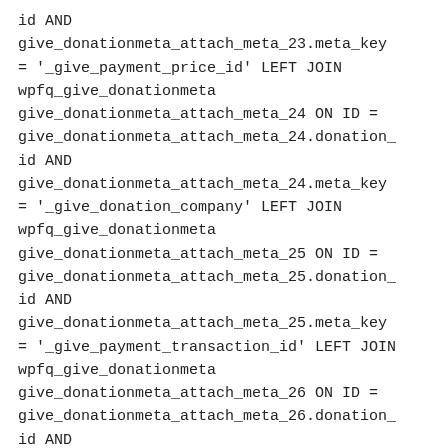id AND give_donationmeta_attach_meta_23.meta_key = '_give_payment_price_id' LEFT JOIN wpfq_give_donationmeta give_donationmeta_attach_meta_24 ON ID = give_donationmeta_attach_meta_24.donation_id AND give_donationmeta_attach_meta_24.meta_key = '_give_donation_company' LEFT JOIN wpfq_give_donationmeta give_donationmeta_attach_meta_25 ON ID = give_donationmeta_attach_meta_25.donation_id AND give_donationmeta_attach_meta_25.meta_key = '_give_payment_transaction_id' LEFT JOIN wpfq_give_donationmeta give_donationmeta_attach_meta_26 ON ID = give_donationmeta_attach_meta_26.donation_id AND give_donationmeta_attach_meta_26.meta_key = '_give_subscription_paymentLEFT JOIN